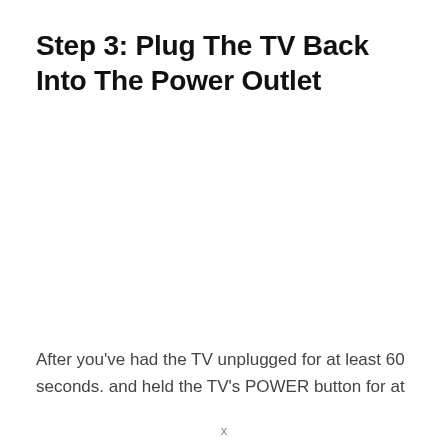Step 3: Plug The TV Back Into The Power Outlet
After you've had the TV unplugged for at least 60 seconds. and held the TV's POWER button for at